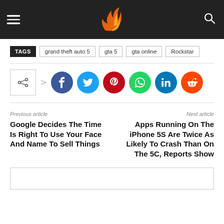MobileSyrup logo header with hamburger menu and search icon
TAGS  grand theft auto 5  gta 5  gta online  Rockstar
[Figure (infographic): Social media share buttons: share icon box, Facebook, Twitter, Pinterest, WhatsApp, LinkedIn, Reddit]
Previous article
Google Decides The Time Is Right To Use Your Face And Name To Sell Things
Next article
Apps Running On The iPhone 5S Are Twice As Likely To Crash Than On The 5C, Reports Show